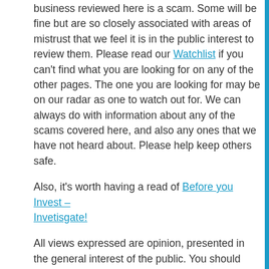business reviewed here is a scam. Some will be fine but are so closely associated with areas of mistrust that we feel it is in the public interest to review them. Please read our Watchlist if you can't find what you are looking for on any of the other pages. The one you are looking for may be on our radar as one to watch out for. We can always do with information about any of the scams covered here, and also any ones that we have not heard about. Please help keep others safe.
Also, it's worth having a read of Before you Invest – Invetisgate!
All views expressed are opinion, presented in the general interest of the public. You should always do your own investigation and consideration of all facts and testimonials. If you would like to know about Why we operate, please read our About page.